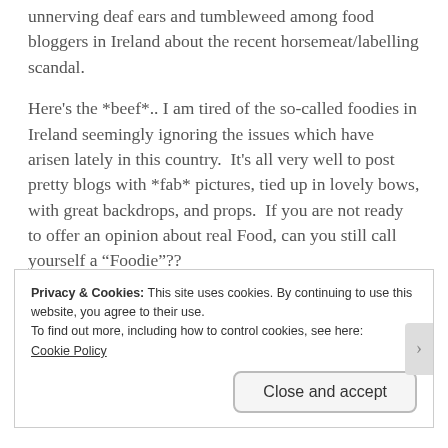unnerving deaf ears and tumbleweed among food bloggers in Ireland about the recent horsemeat/labelling scandal.
Here's the *beef*.. I am tired of the so-called foodies in Ireland seemingly ignoring the issues which have arisen lately in this country.  It's all very well to post pretty blogs with *fab* pictures, tied up in lovely bows, with great backdrops, and props.  If you are not ready to offer an opinion about real Food, can you still call yourself a “Foodie”??
Privacy & Cookies: This site uses cookies. By continuing to use this website, you agree to their use.
To find out more, including how to control cookies, see here:
Cookie Policy
Close and accept